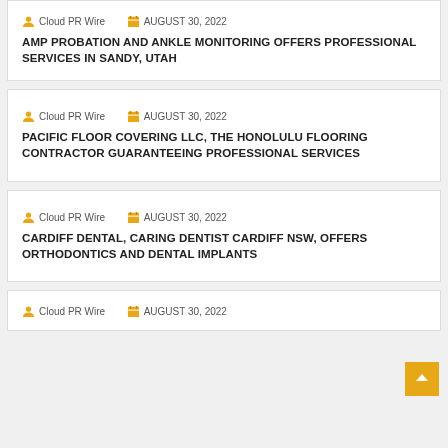Cloud PR Wire   AUGUST 30, 2022
AMP PROBATION AND ANKLE MONITORING OFFERS PROFESSIONAL SERVICES IN SANDY, UTAH
Cloud PR Wire   AUGUST 30, 2022
PACIFIC FLOOR COVERING LLC, THE HONOLULU FLOORING CONTRACTOR GUARANTEEING PROFESSIONAL SERVICES
Cloud PR Wire   AUGUST 30, 2022
CARDIFF DENTAL, CARING DENTIST CARDIFF NSW, OFFERS ORTHODONTICS AND DENTAL IMPLANTS
Cloud PR Wire   AUGUST 30, 2022